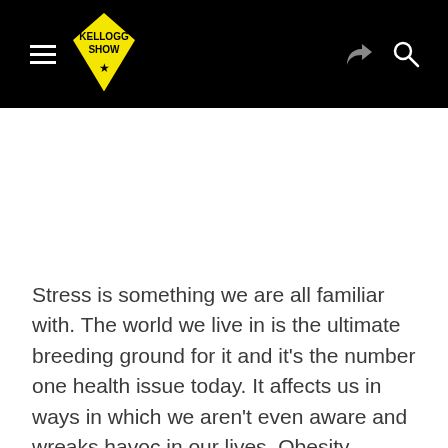KELLOGG SHOW
Stress is something we are all familiar with. The world we live in is the ultimate breeding ground for it and it's the number one health issue today. It affects us in ways in which we aren't even aware and wreaks havoc in our lives. Obesity, fatigue, mental fog, sleep issues, digestive problems, anxiety, hives, premature wrinkles, depression, emotional instability, food